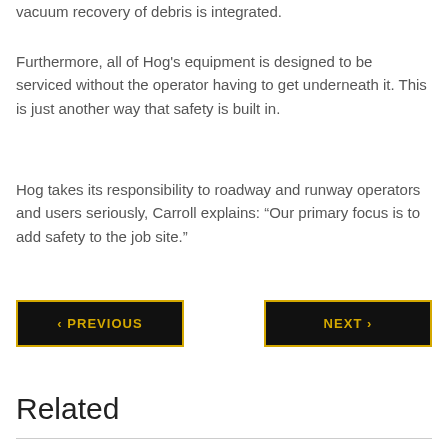vacuum recovery of debris is integrated.
Furthermore, all of Hog’s equipment is designed to be serviced without the operator having to get underneath it. This is just another way that safety is built in.
Hog takes its responsibility to roadway and runway operators and users seriously, Carroll explains: “Our primary focus is to add safety to the job site.”
‹ PREVIOUS
NEXT ›
Related